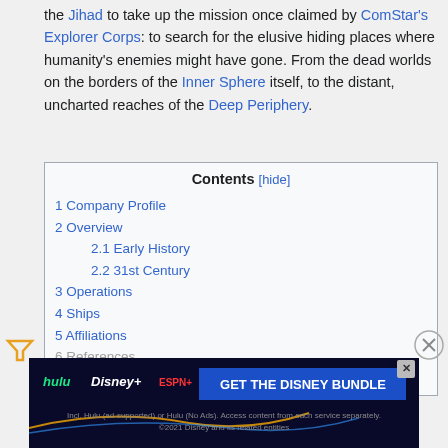the Jihad to take up the mission once claimed by ComStar's Explorer Corps: to search for the elusive hiding places where humanity's enemies might have gone. From the dead worlds on the borders of the Inner Sphere itself, to the distant, uncharted reaches of the Deep Periphery.
| Contents [hide] |
| 1 Company Profile |
| 2 Overview |
| 2.1 Early History |
| 2.2 31st Century |
| 3 Operations |
| 4 Ships |
| 5 Affiliations |
| 6 References |
| 7 Bibliography |
[Figure (other): Disney Bundle advertisement banner with Hulu, Disney+, ESPN+ logos and 'GET THE DISNEY BUNDLE' call to action]